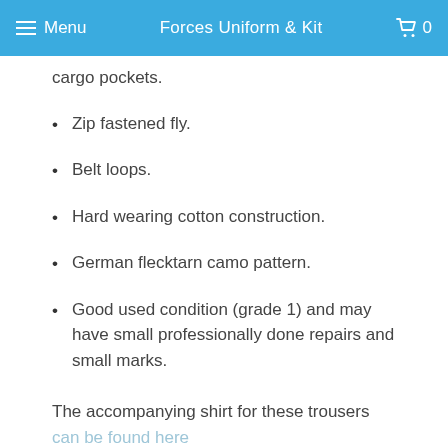Menu | Forces Uniform & Kit | 0
cargo pockets.
Zip fastened fly.
Belt loops.
Hard wearing cotton construction.
German flecktarn camo pattern.
Good used condition (grade 1) and may have small professionally done repairs and small marks.
The accompanying shirt for these trousers can be found here
Great quality genuine military combat trousers offering excellent value for money! If you have any questions